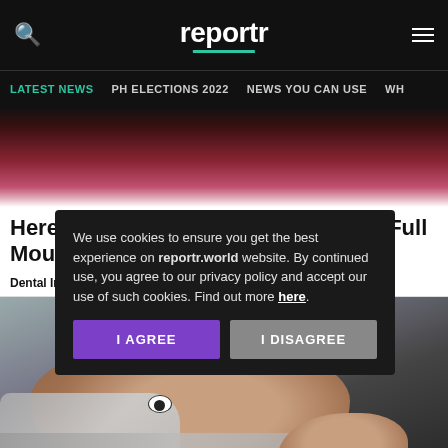reportr
LATEST NEWS | PH ELECTIONS 2022 | NEWS YOU CAN USE | WH
[Figure (photo): Close-up photo of lips/mouth area with pinkish skin texture against dark background]
Here Is The Actual Cost Of One Day Full Mouth Dental Implants
Dental Implants | Spon...
[Figure (photo): Man lying in bed looking worried, resting chin on hand, wide eyes visible above blanket]
We use cookies to ensure you get the best experience on reportr.world website. By continued use, you agree to our privacy policy and accept our use of such cookies. Find out more here.
I AGREE
I DISAGREE